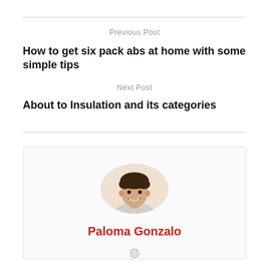Previous Post
How to get six pack abs at home with some simple tips
Next Post
About to Insulation and its categories
[Figure (photo): Circular avatar photo of a smiling young man with curly dark hair wearing a light grey shirt]
Paloma Gonzalo